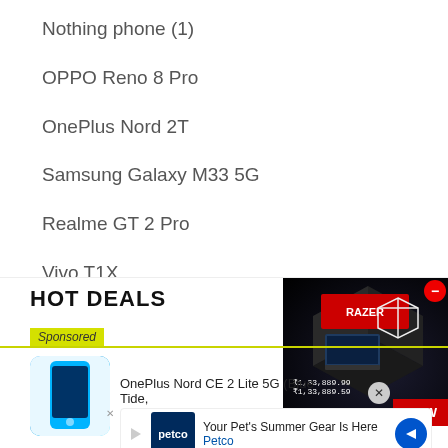Nothing phone (1)
OPPO Reno 8 Pro
OnePlus Nord 2T
Samsung Galaxy M33 5G
Realme GT 2 Pro
Vivo T1X
[Figure (screenshot): HOT DEALS advertisement banner with sponsored label, OnePlus Nord CE 2 Lite 5G phone listing, Petco summer gear ad, and a Dell gaming laptop promotional ad]
OnePlus Nord CE 2 Lite 5G (Blue Tide,
Your Pet's Summer Gear Is Here
Petco